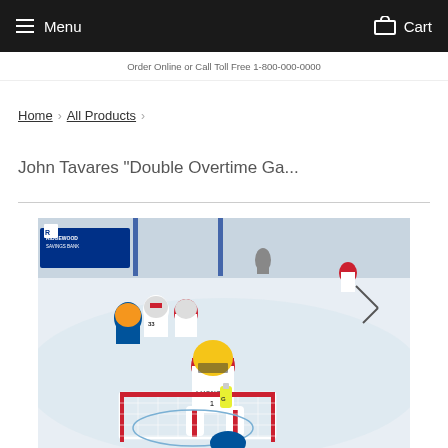Menu  Cart
Order Online or Call Toll Free 1-800-000-0000
Home › All Products ›
John Tavares "Double Overtime Ga...
[Figure (photo): Hockey game photo showing players near goal including goalie Roberto Luongo #1 in Florida Panthers uniform, with other players from opposing team, inside a hockey arena. Ridgewood Savings Bank advertisement visible in background.]